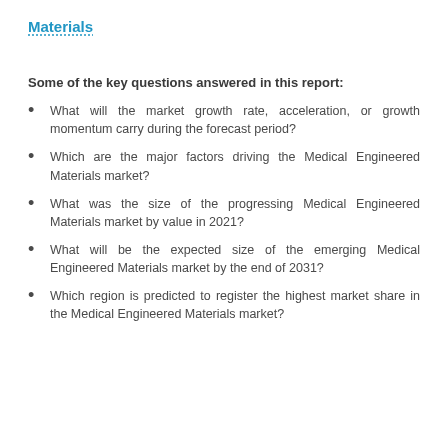Materials
Some of the key questions answered in this report:
What will the market growth rate, acceleration, or growth momentum carry during the forecast period?
Which are the major factors driving the Medical Engineered Materials market?
What was the size of the progressing Medical Engineered Materials market by value in 2021?
What will be the expected size of the emerging Medical Engineered Materials market by the end of 2031?
Which region is predicted to register the highest market share in the Medical Engineered Materials market?